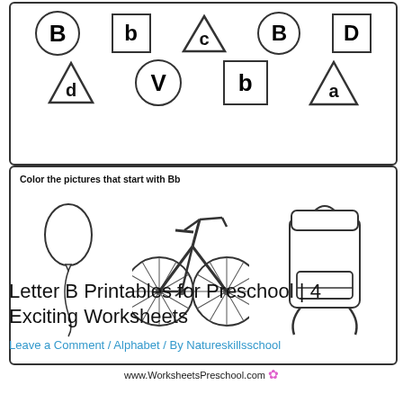[Figure (illustration): Letter recognition exercise showing letters B, b, c, B, D in circles/squares/triangles (row 1) and d, V, b, a in triangles/circles/squares/triangles (row 2)]
Color the pictures that start with Bb
[Figure (illustration): Three coloring pictures: a balloon, a bicycle, and a backpack - all starting with letter B]
www.WorksheetsPreschool.com
Letter B Printables for Preschool | 4 Exciting Worksheets
Leave a Comment / Alphabet / By Natureskillsschool